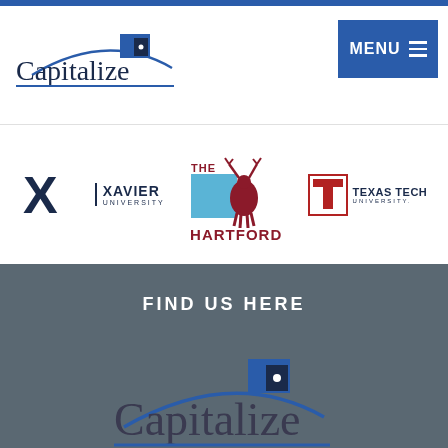[Figure (logo): Capitalize logo top left in header nav area]
[Figure (logo): MENU button with hamburger icon, blue background, top right]
[Figure (logo): Xavier University logo]
[Figure (logo): The Hartford logo with stag]
[Figure (logo): Texas Tech University logo]
FIND US HERE
[Figure (logo): Capitalize logo large in gray footer section]